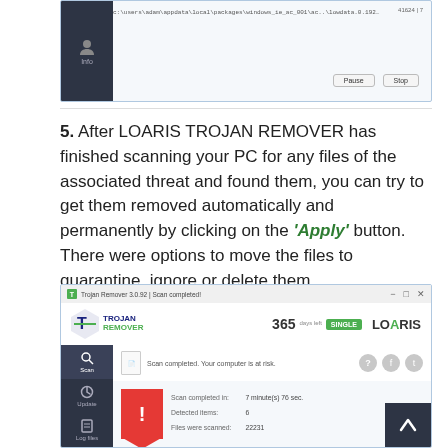[Figure (screenshot): Loaris Trojan Remover scanning interface showing a file path and Pause/Stop buttons]
5. After LOARIS TROJAN REMOVER has finished scanning your PC for any files of the associated threat and found them, you can try to get them removed automatically and permanently by clicking on the 'Apply' button. There were options to move the files to quarantine, ignore or delete them.
[Figure (screenshot): Loaris Trojan Remover 3.0.92 scan completed screen showing 6 detected items, 22231 files scanned, with quarantine options and trojan entries listed]